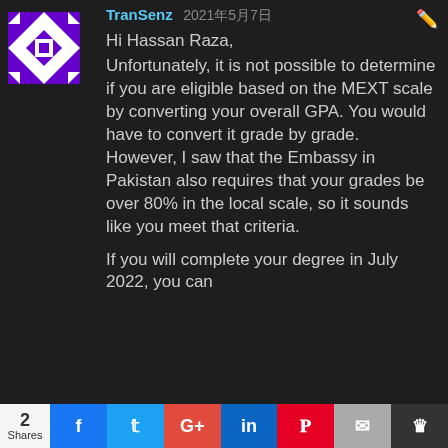[Figure (illustration): Purple and white geometric pattern avatar for user TranSenz]
TranSenz 2021年5月7日
Hi Hassan Raza,
Unfortunately, it is not possible to determine if you are eligible based on the MEXT scale by converting your overall GPA. You would have to convert it grade by grade.
However, I saw that the Embassy in Pakistan also requires that your grades be over 80% in the local scale, so it sounds like you meet that criteria.
If you will complete your degree in July 2022, you can
2 Shares